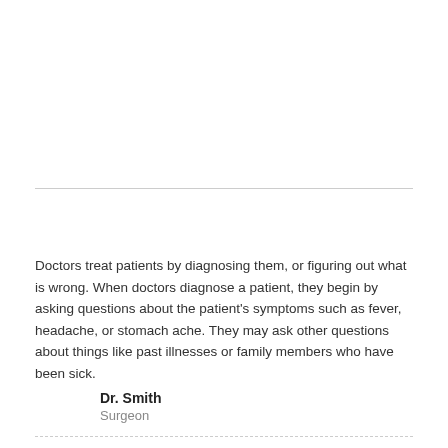Doctors treat patients by diagnosing them, or figuring out what is wrong. When doctors diagnose a patient, they begin by asking questions about the patient's symptoms such as fever, headache, or stomach ache. They may ask other questions about things like past illnesses or family members who have been sick.
Dr. Smith
Surgeon